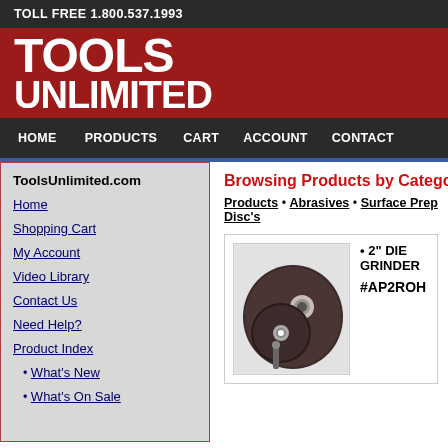TOLL FREE 1.800.537.1993
[Figure (logo): Tools Unlimited logo — white bold text on dark red background]
HOME  PRODUCTS  CART  ACCOUNT  CONTACT
ToolsUnlimited.com
Home
Shopping Cart
My Account
Video Library
Contact Us
Need Help?
Product Index
• What's New
• What's On Sale
Browsing Products by Category
Products • Abrasives • Surface Prep Disc's
[Figure (photo): Two die grinder surface prep discs — dark circular abrasive discs with a mounting bolt, shown on a white background]
• 2" DIE GRINDER
#AP2ROH